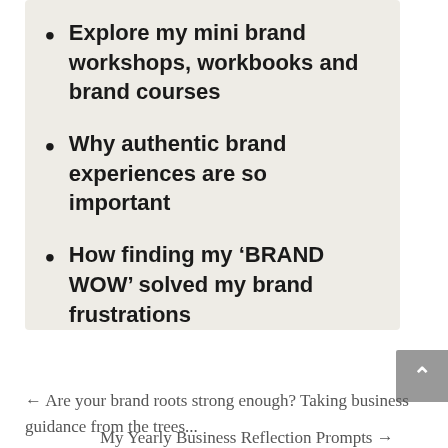Explore my mini brand workshops, workbooks and brand courses
Why authentic brand experiences are so important
How finding my ‘BRAND WOW’ solved my brand frustrations
← Are your brand roots strong enough? Taking business guidance from the trees...
My Yearly Business Reflection Prompts →